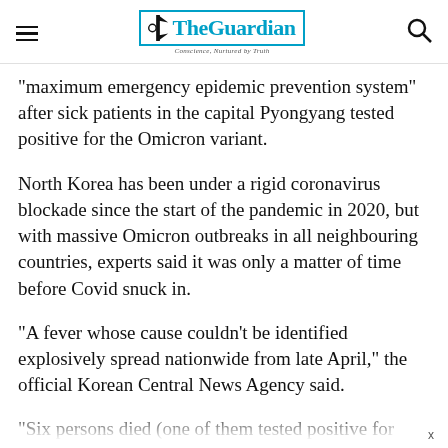The Guardian
"maximum emergency epidemic prevention system" after sick patients in the capital Pyongyang tested positive for the Omicron variant.
North Korea has been under a rigid coronavirus blockade since the start of the pandemic in 2020, but with massive Omicron outbreaks in all neighbouring countries, experts said it was only a matter of time before Covid snuck in.
“A fever whose cause couldn’t be identified explosively spread nationwide from late April,” the official Korean Central News Agency said.
“Six persons died (one of them tested positive for